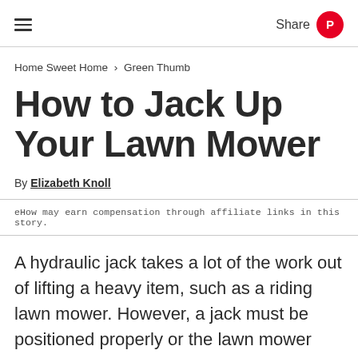≡  Share
Home Sweet Home › Green Thumb
How to Jack Up Your Lawn Mower
By Elizabeth Knoll
eHow may earn compensation through affiliate links in this story.
A hydraulic jack takes a lot of the work out of lifting a heavy item, such as a riding lawn mower. However, a jack must be positioned properly or the lawn mower risks crashing down. This not only damages the mower but can cause you severe injury. Jack placement